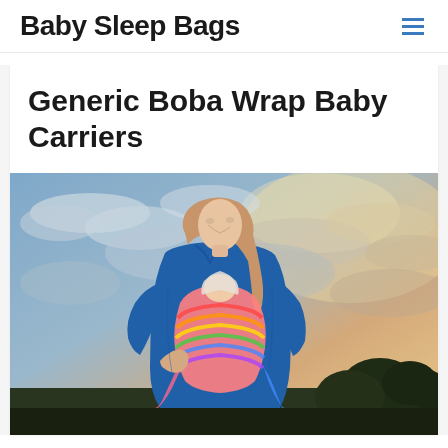Baby Sleep Bags
Generic Boba Wrap Baby Carriers
[Figure (photo): A woman wearing a blue jacket holds a baby in a colorful rainbow striped wrap carrier against a dramatic cloudy sunset sky with trees in the background.]